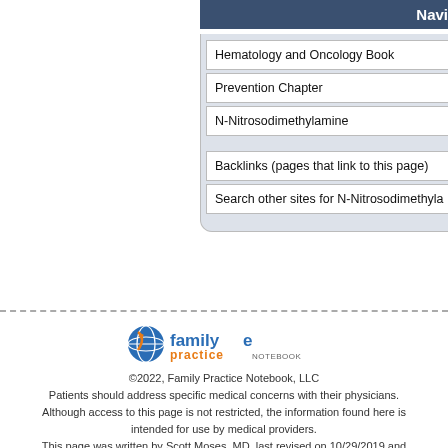Navi
Hematology and Oncology Book
Prevention Chapter
N-Nitrosodimethylamine
Backlinks (pages that link to this page)
Search other sites for N-Nitrosodimethyla
[Figure (logo): Family Practice Notebook logo]
©2022, Family Practice Notebook, LLC
Patients should address specific medical concerns with their physicians.
Although access to this page is not restricted, the information found here is intended for use by medical providers.
This page was written by Scott Moses, MD, last revised on 10/29/2019 and last published on 7/28/2022
This is one of 7117 pages in the Family Practice Notebook
- Terms, Conditions, Privacy (FPN)  - Privacy (UBM, external)  - Contact
- Site Map  - Blog